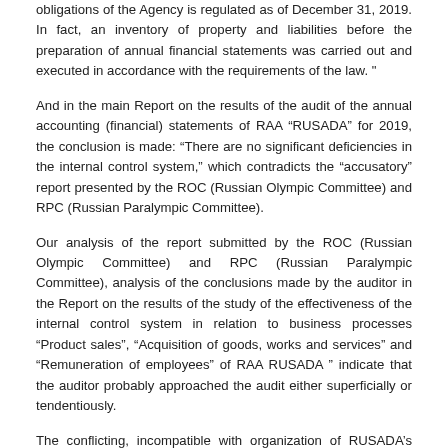obligations of the Agency is regulated as of December 31, 2019. In fact, an inventory of property and liabilities before the preparation of annual financial statements was carried out and executed in accordance with the requirements of the law. "
And in the main Report on the results of the audit of the annual accounting (financial) statements of RAA “RUSADA” for 2019, the conclusion is made: “There are no significant deficiencies in the internal control system,” which contradicts the “accusatory” report presented by the ROC (Russian Olympic Committee) and RPC (Russian Paralympic Committee).
Our analysis of the report submitted by the ROC (Russian Olympic Committee) and RPC (Russian Paralympic Committee), analysis of the conclusions made by the auditor in the Report on the results of the study of the effectiveness of the internal control system in relation to business processes “Product sales”, “Acquisition of goods, works and services” and “Remuneration of employees” of RAA RUSADA ” indicate that the auditor probably approached the audit either superficially or tendentiously.
The conflicting, incompatible with organization of RUSADA’s work auditor’s findings testify to this. There are questions about attempts by the auditor to give conclusions on organizing